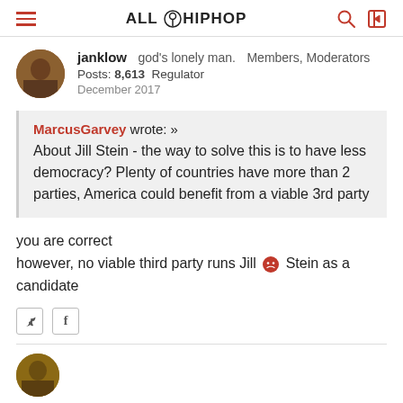ALL HIPHOP
janklow  god's lonely man.  Members, Moderators
Posts: 8,613  Regulator
December 2017
MarcusGarvey wrote: »
About Jill Stein - the way to solve this is to have less democracy? Plenty of countries have more than 2 parties, America could benefit from a viable 3rd party
you are correct
however, no viable third party runs Jill 😡 Stein as a candidate